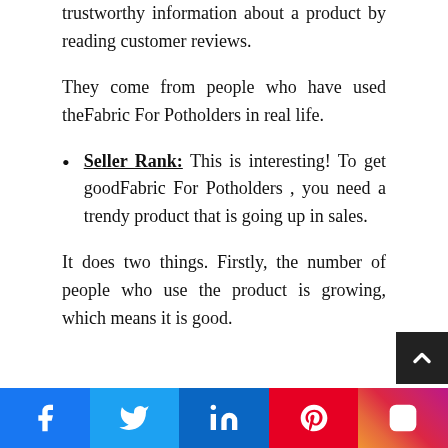trustworthy information about a product by reading customer reviews.
They come from people who have used theFabric For Potholders in real life.
Seller Rank: This is interesting! To get goodFabric For Potholders , you need a trendy product that is going up in sales.
It does two things. Firstly, the number of people who use the product is growing, which means it is good.
[Figure (infographic): Social media share bar at bottom with Facebook, Twitter, LinkedIn, Pinterest, and Instagram icons]